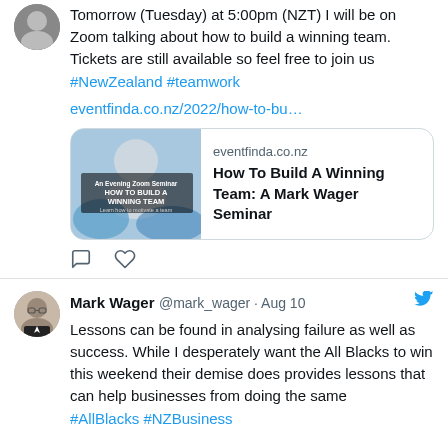Tomorrow (Tuesday) at 5:00pm (NZT) I will be on Zoom talking about how to build a winning team. Tickets are still available so feel free to join us
#NewZealand #teamwork
eventfinda.co.nz/2022/how-to-bu…
[Figure (screenshot): Link card showing eventfinda.co.nz with image of 'How To Build A Winning Team' seminar and text 'eventfinda.co.nz / How To Build A Winning Team: A Mark Wager Seminar']
Mark Wager @mark_wager · Aug 10
Lessons can be found in analysing failure as well as success. While I desperately want the All Blacks to win this weekend their demise does provides lessons that can help businesses from doing the same
#AllBlacks #NZBusiness